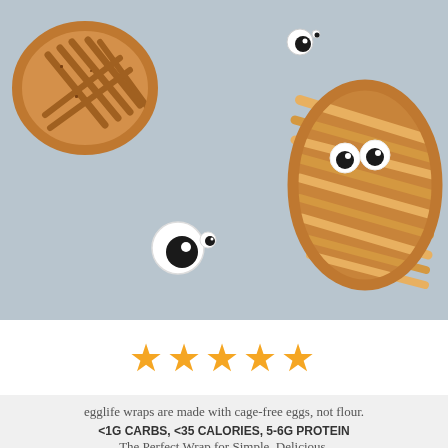[Figure (photo): Overhead photo of Halloween mummy-themed baked pastry wraps on a blue-gray surface. Left side shows a round lattice-topped pastry. Center-right shows a larger mummy-shaped pastry with googly candy eyes and diagonal pastry strips. Decorative googly eyes are scattered on the surface.]
[Figure (other): Five gold/orange star rating icons indicating a 5-star rating]
egglife wraps are made with cage-free eggs, not flour.
<1G CARBS, <35 CALORIES, 5-6G PROTEIN
The Perfect Wrap for Simple, Delicious,